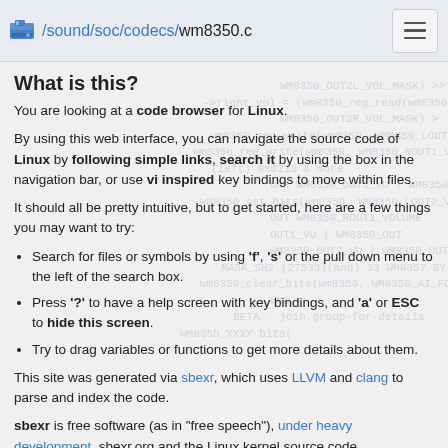/sound/soc/codecs/wm8350.c
What is this?
You are looking at a code browser for Linux.
By using this web interface, you can navigate the source code of Linux by following simple links, search it by using the box in the navigation bar, or use vi inspired key bindings to move within files.
It should all be pretty intuitive, but to get started, here are a few things you may want to try:
Search for files or symbols by using 'f', 's' or the pull down menu to the left of the search box.
Press '?' to have a help screen with key bindings, and 'a' or ESC to hide this screen.
Try to drag variables or functions to get more details about them.
This site was generated via sbexr, which uses LLVM and clang to parse and index the code.
sbexr is free software (as in "free speech"), under heavy development, sbexr.org and the Linux kernel source code ...